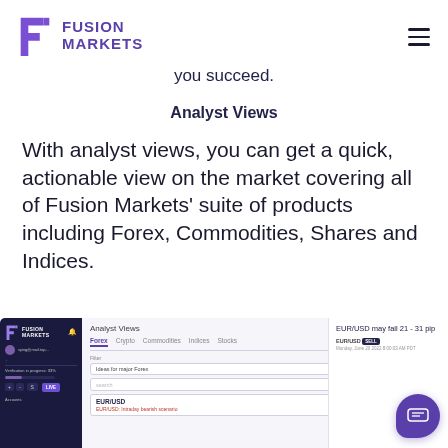Fusion Markets
you succeed.
Analyst Views
With analyst views, you can get a quick, actionable view on the market covering all of Fusion Markets’ suite of products including Forex, Commodities, Shares and Indices.
[Figure (screenshot): Screenshot of the Fusion Markets platform showing the Analyst Views section with Forex, Crypto, Commodities, Indices, Stocks tabs. Left dark sidebar shows navigation. Main area displays filter options and EUR/USD trade idea. Right panel shows EUR/USD may fall 21-31 pips preview. A purple chat bubble appears in the bottom right corner.]